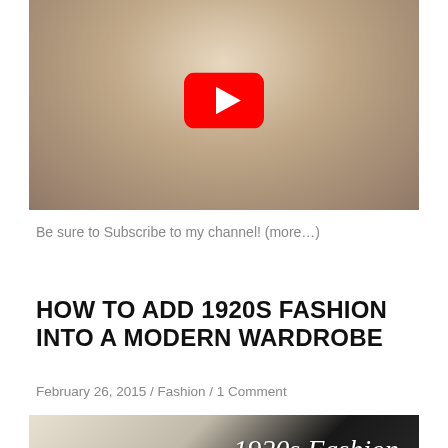[Figure (screenshot): YouTube video thumbnail showing a blonde woman holding beauty/cosmetic products with a red YouTube play button overlay in the center]
Be sure to Subscribe to my channel! (more…)
HOW TO ADD 1920S FASHION INTO A MODERN WARDROBE
February 26, 2015 / Fashion / 1 Comment
[Figure (photo): Partial image showing text '1920s Fashion' in decorative script on dark background with a light colored object at left]